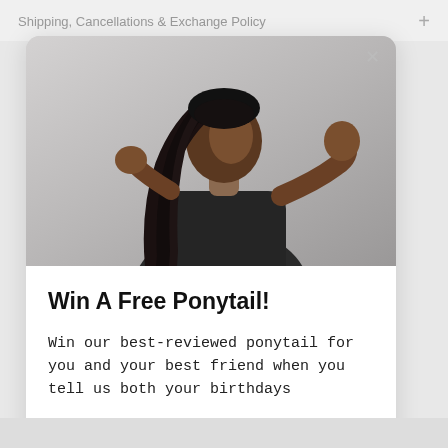Shipping, Cancellations & Exchange Policy  +
[Figure (photo): A young Black woman with a very long straight ponytail hairstyle, wearing a dark leather jacket, posed looking back over her shoulder with one fist raised. Background is light grey.]
Win A Free Ponytail!
Win our best-reviewed ponytail for you and your best friend when you tell us both your birthdays
Yes! I want one